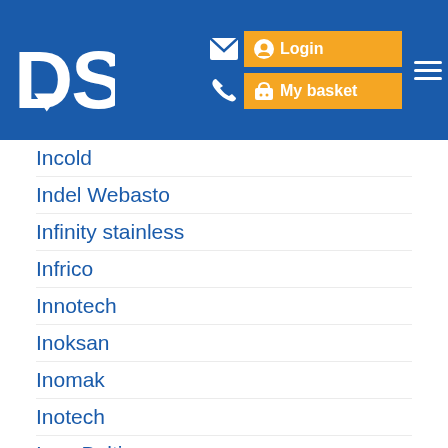DSU — Login | My basket
Incold
Indel Webasto
Infinity stainless
Infrico
Innotech
Inoksan
Inomak
Inotech
Inox Baltic
Inoxfera
Interlevin
IRF
Irinox
ISA
Isark